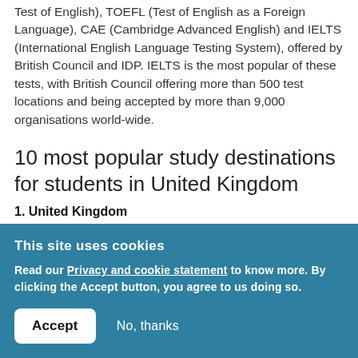Test of English), TOEFL (Test of English as a Foreign Language), CAE (Cambridge Advanced English) and IELTS (International English Language Testing System), offered by British Council and IDP. IELTS is the most popular of these tests, with British Council offering more than 500 test locations and being accepted by more than 9,000 organisations world-wide.
10 most popular study destinations for students in United Kingdom
1. United Kingdom
This site uses cookies
Read our Privacy and cookie statement to know more. By clicking the Accept button, you agree to us doing so.
Accept   No, thanks